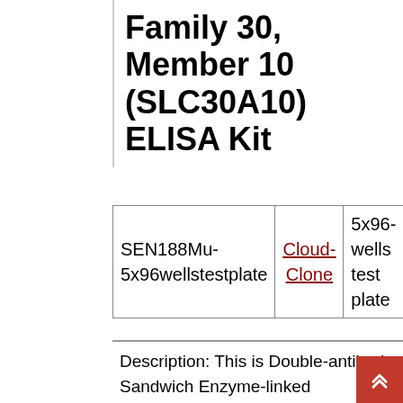Family 30, Member 10 (SLC30A10) ELISA Kit
|  |  |  |  |
| --- | --- | --- | --- |
| SEN188Mu-5x96wellstestplate | Cloud-Clone | 5x96-wells test plate | EUR 2894.2 |
Description: This is Double-antibody Sandwich Enzyme-linked immunosorbent assay for detection of Mouse Solute Carrier Family 30, Member 10 (SLC30A10) in Tissue homogenates, cell lysates and other biological fluids.